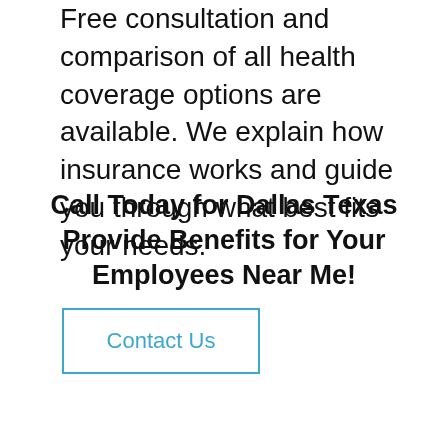Free consultation and comparison of all health coverage options are available. We explain how insurance works and guide you through what best fits your needs.
Call Today for Dallas Texas Provide Benefits for Your Employees Near Me!
Contact Us